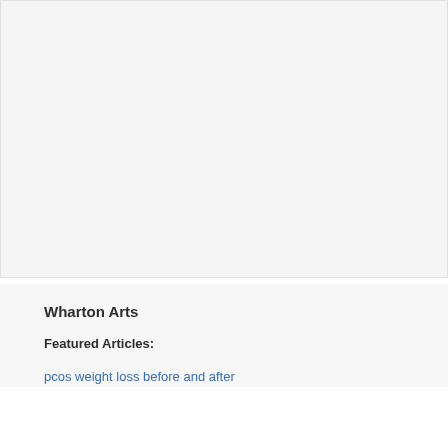[Figure (other): Large light gray placeholder image area at the top of the page]
Wharton Arts
Featured Articles:
pcos weight loss before and after